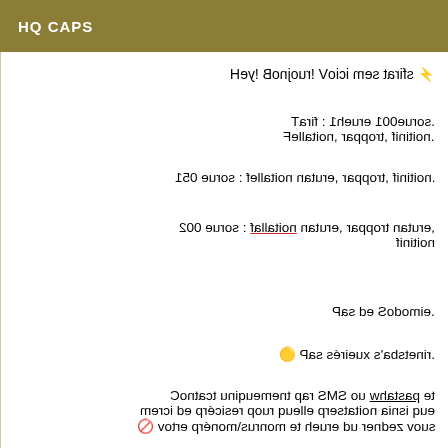HQ CAPS
Hey! Bonjour! Voici mes tarifs ⚡
Tarif : 1heure 100euros.
Fellation, rapport, finition.
150 euros : fellation nature, rapport, finition.
200 euros : fallation nature, rapport nature, finition
Pas de Sodomie.
⚡ Pas sérieux s'abstenir.
Contact uniquement par SMS ou whatsap et merci de préciser pour quelle prestation ainsi que votre prénom\surnom et heure du rendez vous 🚫
Pensez à prévoir vos préservatifs sinon il 'e se